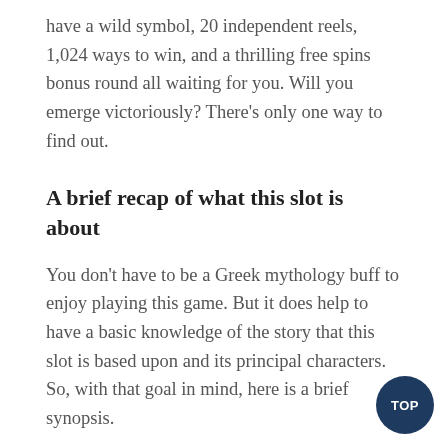have a wild symbol, 20 independent reels, 1,024 ways to win, and a thrilling free spins bonus round all waiting for you. Will you emerge victoriously? There's only one way to find out.
A brief recap of what this slot is about
You don't have to be a Greek mythology buff to enjoy playing this game. But it does help to have a basic knowledge of the story that this slot is based upon and its principal characters. So, with that goal in mind, here is a brief synopsis.
According to the legend, the beautiful Helen